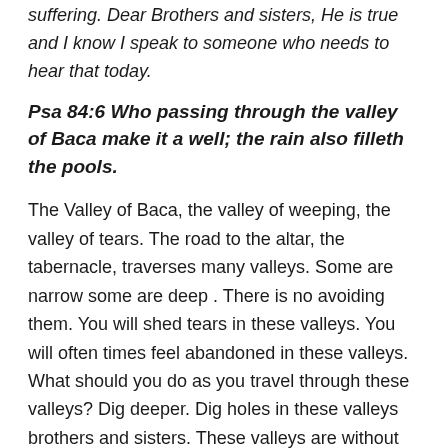suffering. Dear Brothers and sisters, He is true and I know I speak to someone who needs to hear that today.
Psa 84:6 Who passing through the valley of Baca make it a well; the rain also filleth the pools.
The Valley of Baca, the valley of weeping, the valley of tears. The road to the altar, the tabernacle, traverses many valleys. Some are narrow some are deep . There is no avoiding them. You will shed tears in these valleys. You will often times feel abandoned in these valleys. What should you do as you travel through these valleys? Dig deeper. Dig holes in these valleys brothers and sisters. These valleys are without rain and it would seem to many that they will surely die as they go through it. You will not die. So why should you stop and dig holes in this valley. Why not rush through as quickly as possible? The truth is, this valley cannot be rushed. No matter how much you